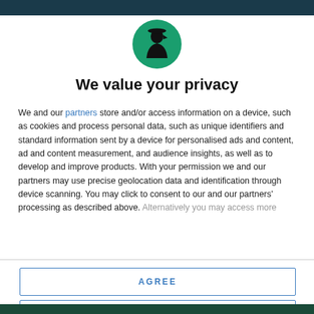[Figure (logo): Circular green logo with a black silhouette of a figure (person with hat), resembling a privacy/security icon]
We value your privacy
We and our partners store and/or access information on a device, such as cookies and process personal data, such as unique identifiers and standard information sent by a device for personalised ads and content, ad and content measurement, and audience insights, as well as to develop and improve products. With your permission we and our partners may use precise geolocation data and identification through device scanning. You may click to consent to our and our partners' processing as described above. Alternatively you may access more
AGREE
MORE OPTIONS